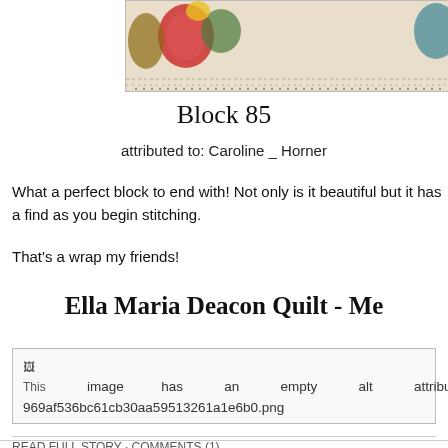[Figure (photo): Partial view of a quilt with colorful fabric pieces on a light background with decorative border, cropped at top of page]
Block 85
attributed to: Caroline _ Horner
What a perfect block to end with! Not only is it beautiful but it has a find as you begin stitching.
That's a wrap my friends!
Ella Maria Deacon Quilt - Me
[Figure (photo): Broken/missing image placeholder with alt text showing filename: This image has an empty alt attribute; 969af536bc61cb30aa59513261a1e6b0.png]
READ FULL STORY · COMMENTS (1)